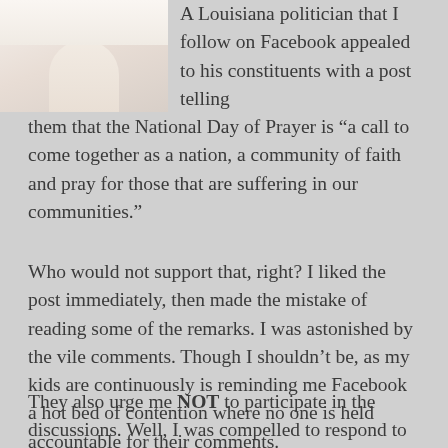[Figure (photo): Partial photo of a woman wearing a cross necklace, white top, cropped at top-left of page]
A Louisiana politician that I follow on Facebook appealed to his constituents with a post telling them that the National Day of Prayer is “a call to come together as a nation, a community of faith and pray for those that are suffering in our communities.”
Who would not support that, right? I liked the post immediately, then made the mistake of reading some of the remarks. I was astonished by the vile comments. Though I shouldn’t be, as my kids are continuously is reminding me Facebook a hot bed of contention where no one is held accountable for their comments.
They also urge me NOT to participate in the discussions. Well, I was compelled to respond to one gentleman who was submitting post after post about the uselessness of